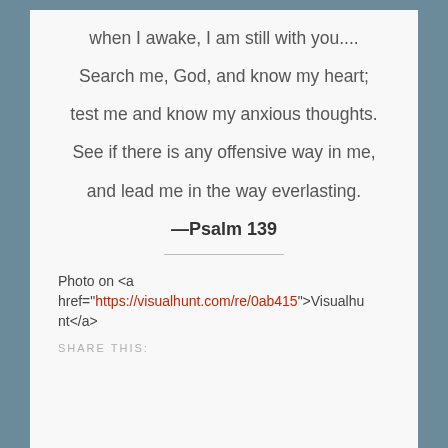when I awake, I am still with you....
Search me, God, and know my heart;
test me and know my anxious thoughts.
See if there is any offensive way in me,
and lead me in the way everlasting.
—Psalm 139
Photo on <a href="https://visualhunt.com/re/0ab415">Visualhunt</a>
SHARE THIS: